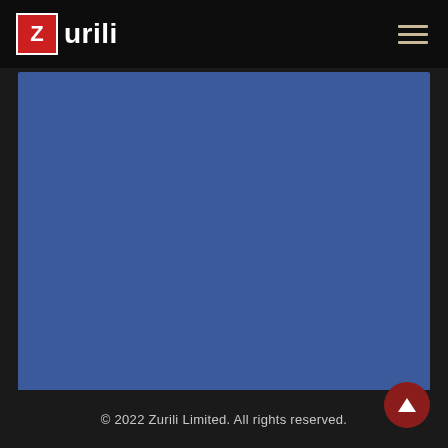Zurili
[Figure (other): Solid blue rectangular content area placeholder]
© 2022 Zurili Limited. All rights reserved.